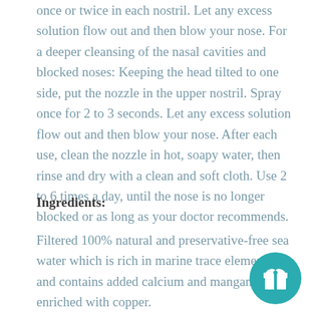once or twice in each nostril. Let any excess solution flow out and then blow your nose. For a deeper cleansing of the nasal cavities and blocked noses: Keeping the head tilted to one side, put the nozzle in the upper nostril. Spray once for 2 to 3 seconds. Let any excess solution flow out and then blow your nose. After each use, clean the nozzle in hot, soapy water, then rinse and dry with a clean and soft cloth. Use 2 to 6 times a day, until the nose is no longer blocked or as long as your doctor recommends.
Ingredients:
Filtered 100% natural and preservative-free sea water which is rich in marine trace elements and contains added calcium and manganese and enriched with copper.
[Figure (illustration): Teal circular gift icon button with a white gift box symbol]